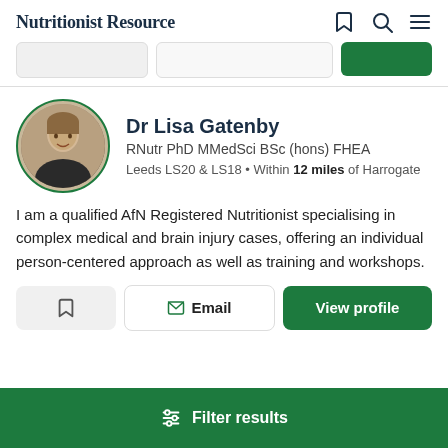Nutritionist Resource
[Figure (screenshot): Search bar row with two input boxes and a green search button]
Dr Lisa Gatenby
RNutr PhD MMedSci BSc (hons) FHEA
Leeds LS20 & LS18 • Within 12 miles of Harrogate
I am a qualified AfN Registered Nutritionist specialising in complex medical and brain injury cases, offering an individual person-centered approach as well as training and workshops.
[Figure (screenshot): Action buttons: save (bookmark icon), Email, View profile]
Filter results